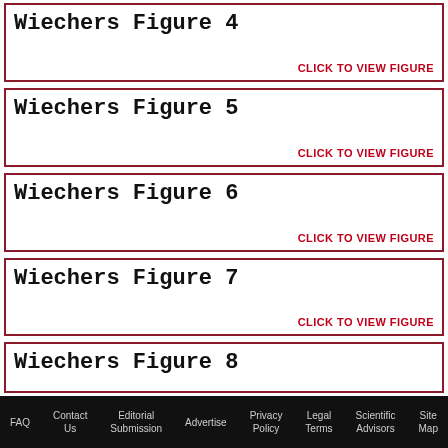[Figure (other): Wiechers Figure 4 placeholder box with click-to-view link]
[Figure (other): Wiechers Figure 5 placeholder box with click-to-view link]
[Figure (other): Wiechers Figure 6 placeholder box with click-to-view link]
[Figure (other): Wiechers Figure 7 placeholder box with click-to-view link]
[Figure (other): Wiechers Figure 8 placeholder box (partially visible)]
FAQ  Contact Us  Editorial Submission  Advertise  Privacy Policy  Legal Terms  Scientific Advisors  Site Map